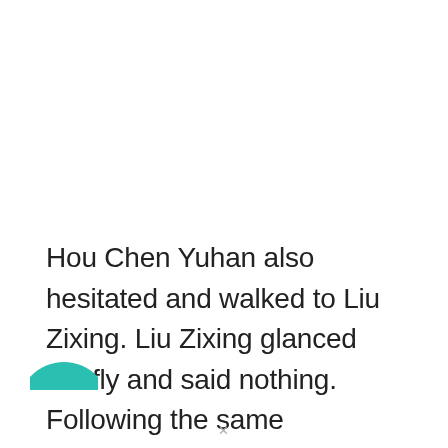Hou Chen Yuhan also hesitated and walked to Liu Zixing. Liu Zixing glanced briefly and said nothing. Following the same procedure, he also gave a million chips directly.
[Figure (illustration): Partial teal/green circular avatar icon visible at bottom-left corner of page]